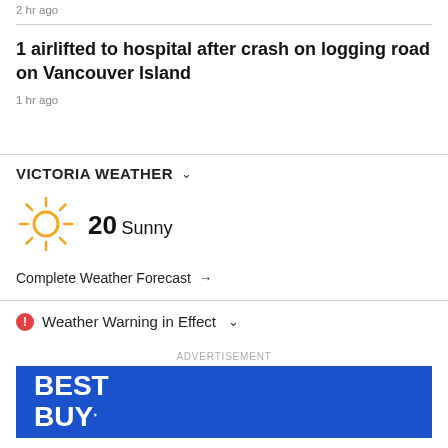2 hr ago
1 airlifted to hospital after crash on logging road on Vancouver Island
1 hr ago
VICTORIA WEATHER
[Figure (illustration): Sun icon with rays, orange color]
20 Sunny
Complete Weather Forecast →
Weather Warning in Effect
ADVERTISEMENT
[Figure (logo): Best Buy advertisement banner with blue background and BEST BUY logo in white text]